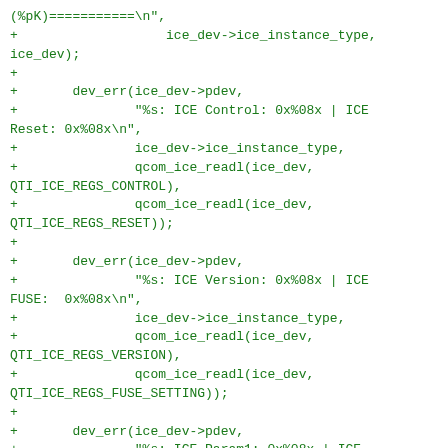(%pK)===========\n",
+                   ice_dev->ice_instance_type,
ice_dev);
+
+       dev_err(ice_dev->pdev,
+               "%s: ICE Control: 0x%08x | ICE Reset: 0x%08x\n",
+               ice_dev->ice_instance_type,
+               qcom_ice_readl(ice_dev, QTI_ICE_REGS_CONTROL),
+               qcom_ice_readl(ice_dev, QTI_ICE_REGS_RESET));
+
+       dev_err(ice_dev->pdev,
+               "%s: ICE Version: 0x%08x | ICE FUSE:  0x%08x\n",
+               ice_dev->ice_instance_type,
+               qcom_ice_readl(ice_dev, QTI_ICE_REGS_VERSION),
+               qcom_ice_readl(ice_dev, QTI_ICE_REGS_FUSE_SETTING));
+
+       dev_err(ice_dev->pdev,
+               "%s: ICE Param1: 0x%08x | ICE Param2:  0x%08x\n",
+               ice_dev->ice_instance_type,
+               qcom_ice_readl(ice_dev, QTI_ICE_REGS_PARAMETERS_1),
+               qcom_ice_readl(ice_dev, QTI_ICE_REGS_PARAMETERS_2));